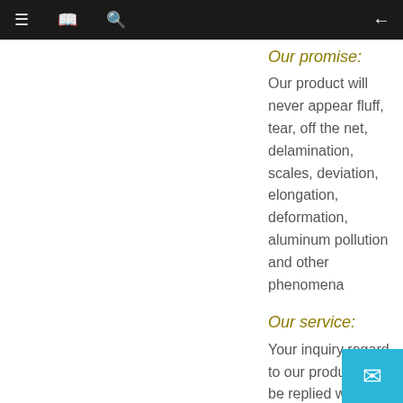≡  [book icon]  [search icon]  ←
Our promise:
Our product will never appear fluff, tear, off the net, delamination, scales, deviation, elongation, deformation, aluminum pollution and other phenomena
Our service:
Your inquiry regard to our product will be replied within 24hours Well-trained & experienced staff are to answer all your inquiries in Eng... course